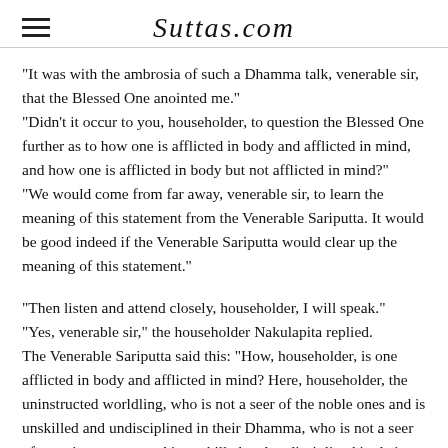Suttas.com
"It was with the ambrosia of such a Dhamma talk, venerable sir, that the Blessed One anointed me." "Didn't it occur to you, householder, to question the Blessed One further as to how one is afflicted in body and afflicted in mind, and how one is afflicted in body but not afflicted in mind?" "We would come from far away, venerable sir, to learn the meaning of this statement from the Venerable Sariputta. It would be good indeed if the Venerable Sariputta would clear up the meaning of this statement."
"Then listen and attend closely, householder, I will speak." "Yes, venerable sir," the householder Nakulapita replied. The Venerable Sariputta said this: "How, householder, is one afflicted in body and afflicted in mind? Here, householder, the uninstructed worldling, who is not a seer of the noble ones and is unskilled and undisciplined in their Dhamma, who is not a seer of superior persons and is unskilled and undisciplined in their